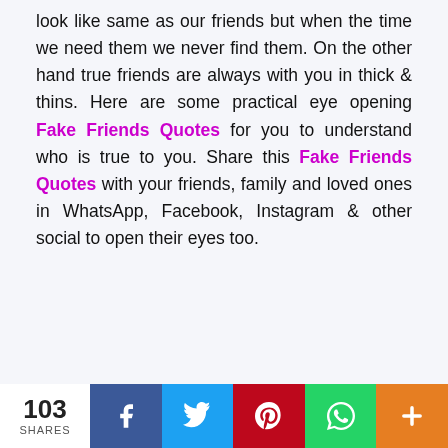look like same as our friends but when the time we need them we never find them. On the other hand true friends are always with you in thick & thins. Here are some practical eye opening Fake Friends Quotes for you to understand who is true to you. Share this Fake Friends Quotes with your friends, family and loved ones in WhatsApp, Facebook, Instagram & other social to open their eyes too.
103 SHARES | Facebook | Twitter | Pinterest | WhatsApp | More